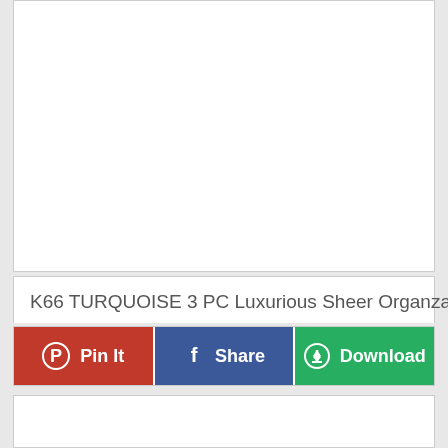[Figure (photo): White/blank image area at top of card]
K66 TURQUOISE 3 PC Luxurious Sheer Organza Kitc...
[Figure (infographic): Three social/action buttons: red Pinterest Pin It button, blue Facebook Share button, green Download button]
[Figure (photo): White/blank image area at bottom of page, partially visible]